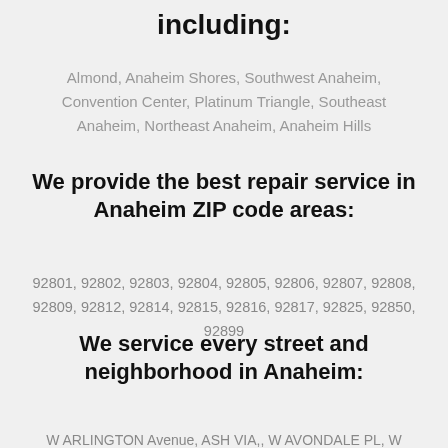including:
Almond, Anaheim Shores, Southwest Anaheim, Convention Center, Platinum Triangle, Southeast Anaheim, Northeast Anaheim, Anaheim Hills
We provide the best repair service in Anaheim ZIP code areas:
92801, 92802, 92803, 92804, 92805, 92806, 92807, 92808, 92809, 92812, 92814, 92815, 92816, 92817, 92825, 92850, 92899
We service every street and neighborhood in Anaheim:
W ARLINGTON Avenue, ASH VIA,, W AVONDALE PL, W BAYLOR